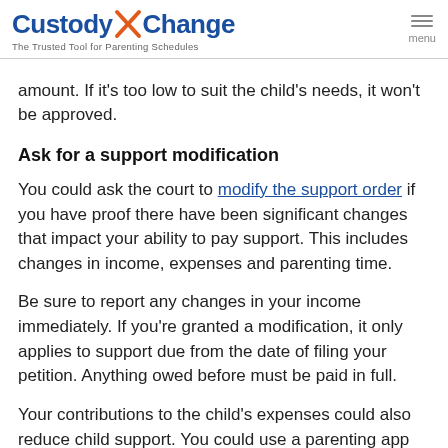CustodyXChange – The Trusted Tool for Parenting Schedules
amount. If it's too low to suit the child's needs, it won't be approved.
Ask for a support modification
You could ask the court to modify the support order if you have proof there have been significant changes that impact your ability to pay support. This includes changes in income, expenses and parenting time.
Be sure to report any changes in your income immediately. If you're granted a modification, it only applies to support due from the date of filing your petition. Anything owed before must be paid in full.
Your contributions to the child's expenses could also reduce child support. You could use a parenting app like Custody X Change to track child-related expenses, then